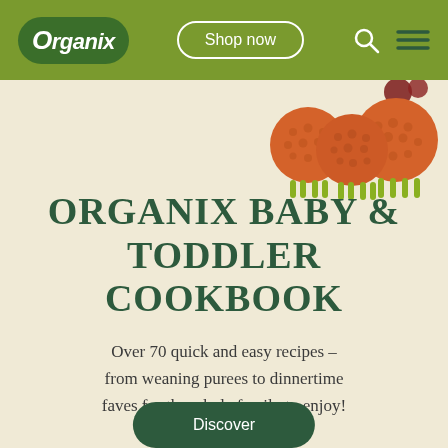[Figure (logo): Organix logo - white italic text on dark green oval/pill shape]
Shop now
[Figure (illustration): Orange rice cracker sheep-shaped snacks in top right corner on cream background]
ORGANIX BABY & TODDLER COOKBOOK
Over 70 quick and easy recipes – from weaning purees to dinnertime faves for the whole family to enjoy!
Discover